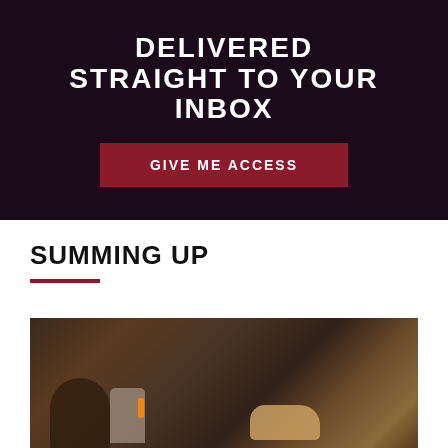[Figure (other): Dark promotional banner with white large uppercase text 'DELIVERED STRAIGHT TO YOUR INBOX' and a dark red call-to-action button reading 'GIVE ME ACCESS']
SUMMING UP
[Figure (photo): A dark atmospheric photo showing a stone archway or cave setting with a figure crouching near a torch and a dog visible in the background]